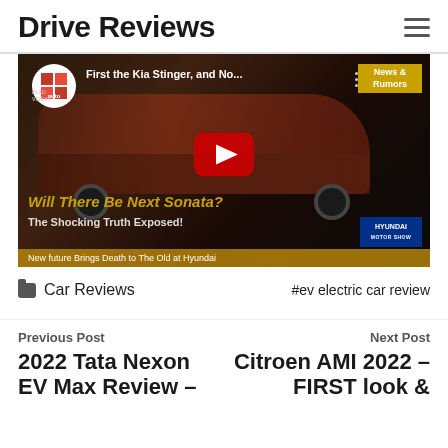Drive Reviews
[Figure (screenshot): YouTube video thumbnail for 'First the Kia Stinger, and No...' by auto vision channel. Video overlay text reads 'Will There Be Next Sonata? The Shocking Truth Exposed!' and 'New future Brings Death to The Old at Hyundai'. Features a red Hyundai car and Hyundai Motor Show badge. News & Rumors tag visible. Red YouTube play button in center.]
Car Reviews
#ev electric car review
Previous Post
2022 Tata Nexon EV Max Review –
Next Post
Citroen AMI 2022 – FIRST look &